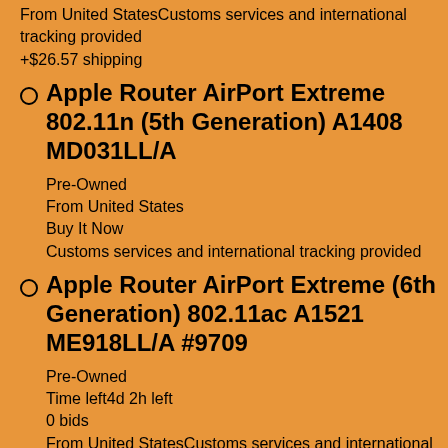From United StatesCustoms services and international tracking provided
+$26.57 shipping
Apple Router AirPort Extreme 802.11n (5th Generation) A1408 MD031LL/A
Pre-Owned
From United States
Buy It Now
Customs services and international tracking provided
Apple Router AirPort Extreme (6th Generation) 802.11ac A1521 ME918LL/A #9709
Pre-Owned
Time left4d 2h left
0 bids
From United StatesCustoms services and international tracking provided
Only 1 left!
Apple Router AirPort Extreme